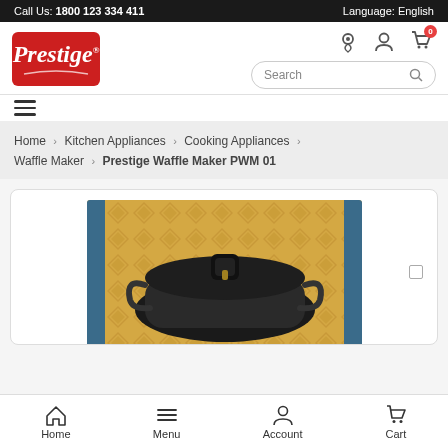Call Us: 1800 123 334 411 | Language: English
[Figure (logo): Prestige brand logo in red box with white italic text]
Search
Home > Kitchen Appliances > Cooking Appliances > Waffle Maker > Prestige Waffle Maker PWM 01
[Figure (photo): Prestige Waffle Maker PWM 01 product photo on waffle-textured background with blue borders]
Home | Menu | Account | Cart